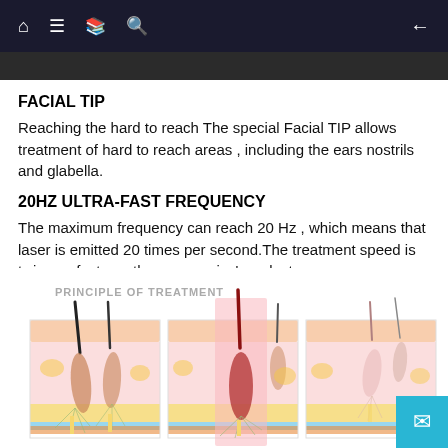Navigation bar with home, menu, book, search icons and back arrow
FACIAL TIP
Reaching the hard to reach The special Facial TIP allows treatment of hard to reach areas , including the ears nostrils and glabella.
20HZ ULTRA-FAST FREQUENCY
The maximum frequency can reach 20 Hz , which means that laser is emitted 20 times per second.The treatment speed is twice as fast as other companies' products
[Figure (illustration): Diagram showing principle of treatment with three cross-section views of skin and hair follicles: first showing normal hair follicle, second showing laser energy being applied (highlighted in pink/red), third showing the follicle after treatment. Labeled 'PRINCIPLE OF TREATMENT'.]